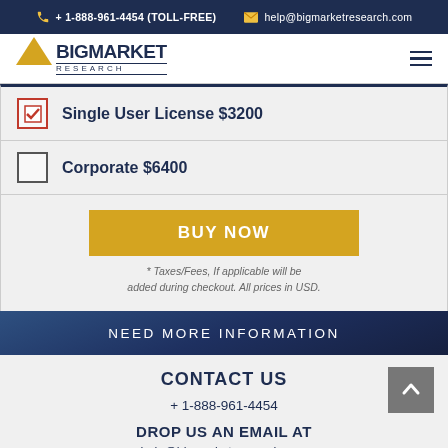+ 1-888-961-4454 (TOLL-FREE)  help@bigmarketresearch.com
[Figure (logo): Big Market Research logo with gold arrow and hamburger menu icon]
Single User License $3200 (checked)
Corporate $6400 (unchecked)
BUY NOW
* Taxes/Fees, If applicable will be added during checkout. All prices in USD.
NEED MORE INFORMATION
CONTACT US
+ 1-888-961-4454
DROP US AN EMAIL AT
help@bigmarketresearch.com